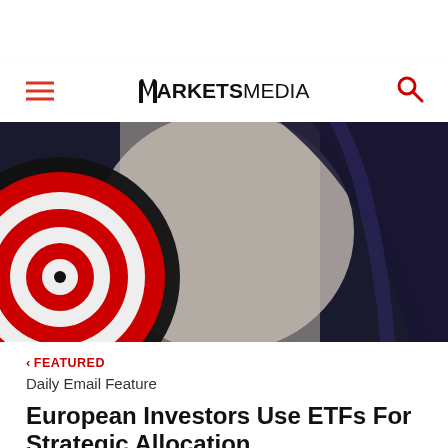MARKETS MEDIA
[Figure (photo): Hero banner image showing a target with red concentric rings on the left and a dark billowing fabric/cape on the right, with a pale sky background in the center]
< FEATURED
Daily Email Feature
European Investors Use ETFs For Strategic Allocation